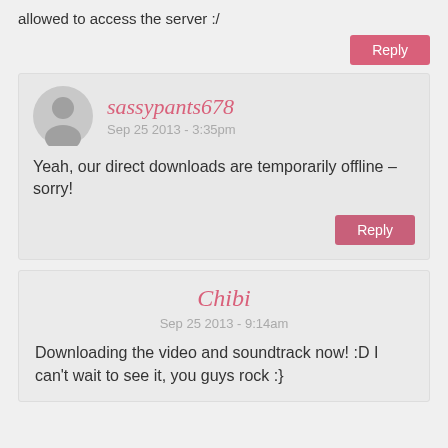allowed to access the server :/
Reply
sassypants678
Sep 25 2013 - 3:35pm
Yeah, our direct downloads are temporarily offline – sorry!
Reply
Chibi
Sep 25 2013 - 9:14am
Downloading the video and soundtrack now! :D I can't wait to see it, you guys rock :}